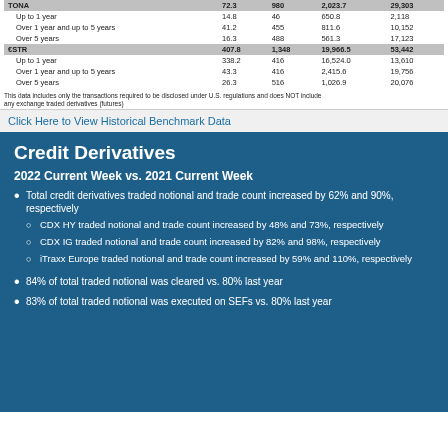|  |  |  |  |  |
| --- | --- | --- | --- | --- |
| TONA | 72.3 | 980 | 2,023.7 | 29,303 |
| Up to 1 year | 14.8 | 46 | 650.8 | 2,118 |
| Over 1 year and up to 5 years | 41.2 | 455 | 811.6 | 10,152 |
| Over 5 years | 16.3 | 488 | 561.3 | 17,123 |
| €STR | 407.8 | 1,348 | 19,966.5 | 53,442 |
| Up to 1 year | 338.2 | 416 | 16,524.0 | 13,610 |
| Over 1 year and up to 5 years | 43.3 | 416 | 2,415.6 | 19,756 |
| Over 5 years | 26.3 | 516 | 1,026.9 | 20,076 |
This data includes only the transactions required to be disclosed under U.S. regulations and does NOT include any exchange traded derivatives (futures)
Click Here to View Historical Benchmark Data
Credit Derivatives
2022 Current Week vs. 2021 Current Week
Total credit derivatives traded notional and trade count increased by 62% and 90%, respectively
CDX HY traded notional and trade count increased by 48% and 73%, respectively
CDX IG traded notional and trade count increased by 82% and 98%, respectively
iTraxx Europe traded notional and trade count increased by 59% and 110%, respectively
84% of total traded notional was cleared vs. 80% last year
83% of total traded notional was executed on SEFs vs. 80% last year